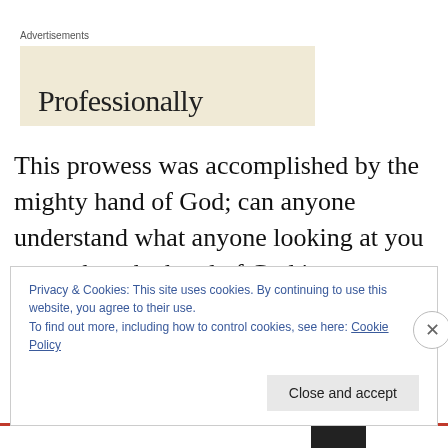Advertisements
[Figure (other): Advertisement banner with beige background showing partial text 'Professionally']
This prowess was accomplished by the mighty hand of God; can anyone understand what anyone looking at you sees when the hand of God is upon you for good? Well just consider Moses coming down from the mountain after spending time in God’s presence (Ex 34:35), it is a totally
Privacy & Cookies: This site uses cookies. By continuing to use this website, you agree to their use.
To find out more, including how to control cookies, see here: Cookie Policy
Close and accept